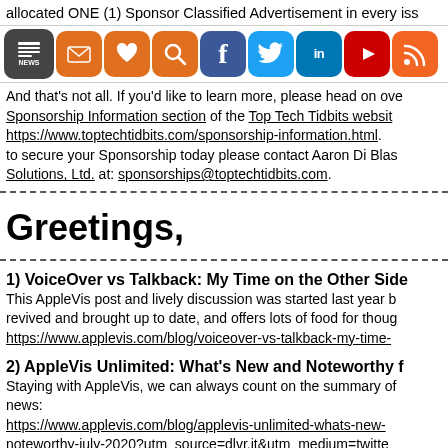allocated ONE (1) Sponsor Classified Advertisement in every iss
[Figure (screenshot): Row of social media and website icon buttons: NEWS, SUBSCRIBE, DONATE, SEARCH, Facebook, Twitter, LinkedIn, YouTube, RSS]
And that's not all. If you'd like to learn more, please head on over to the Sponsorship Information section of the Top Tech Tidbits website: https://www.toptechtidbits.com/sponsorship-information.html. to secure your Sponsorship today please contact Aaron Di Blasi Solutions, Ltd. at: sponsorships@toptechtidbits.com.
Greetings,
1) VoiceOver vs Talkback: My Time on the Other Side
This AppleVis post and lively discussion was started last year b revived and brought up to date, and offers lots of food for thoug https://www.applevis.com/blog/voiceover-vs-talkback-my-time-
2) AppleVis Unlimited: What's New and Noteworthy f
Staying with AppleVis, we can always count on the summary of news:
https://www.applevis.com/blog/applevis-unlimited-whats-new-noteworthy-july-2020?utm_source=dlvr.it&utm_medium=twitte